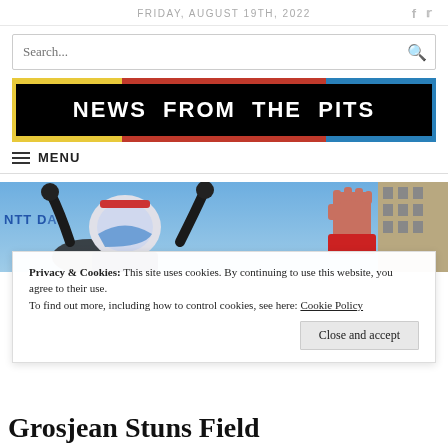FRIDAY, AUGUST 19TH, 2022
Search...
NEWS FROM THE PITS
≡ MENU
[Figure (photo): Photo showing racing drivers celebrating, one wearing a helmet with NTT DATA branding visible, another figure raising a fist on the right side, against a blue sky background.]
Privacy & Cookies: This site uses cookies. By continuing to use this website, you agree to their use.
To find out more, including how to control cookies, see here: Cookie Policy
Close and accept
Grosjean Stuns Field